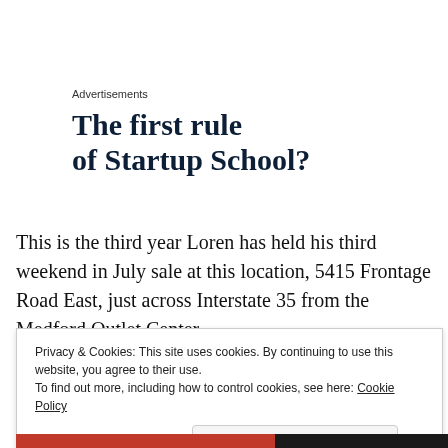Advertisements
The first rule of Startup School?
This is the third year Loren has held his third weekend in July sale at this location, 5415 Frontage Road East, just across Interstate 35 from the Medford Outlet Center.
Privacy & Cookies: This site uses cookies. By continuing to use this website, you agree to their use.
To find out more, including how to control cookies, see here: Cookie Policy
Close and accept